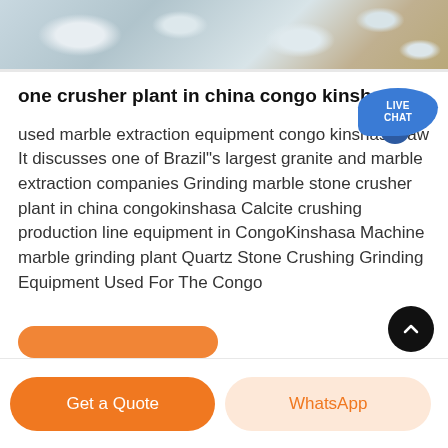[Figure (photo): Aerial or overhead view of a quarry or stone crushing site with white/gray rocks and dusty terrain]
one crusher plant in china congo kinshasa
used marble extraction equipment congo kinshasa raw It discusses one of Brazil"s largest granite and marble extraction companies Grinding marble stone crusher plant in china congokinshasa Calcite crushing production line equipment in CongoKinshasa Machine marble grinding plant Quartz Stone Crushing Grinding Equipment Used For The Congo
Get a Quote | WhatsApp